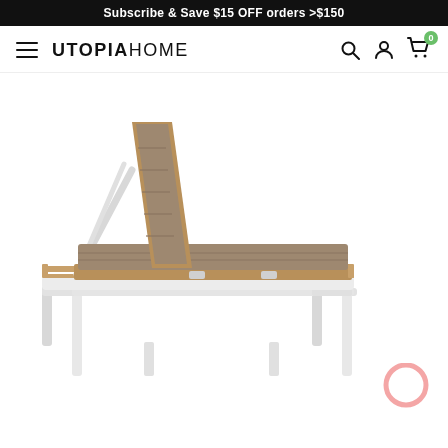Subscribe & Save $15 OFF orders >$150
[Figure (logo): UtopiaHome navigation bar with hamburger menu, UTOPIAHOME logo, search icon, account icon, and cart icon with badge showing 0]
[Figure (photo): Outdoor chaise lounge chair with white metal frame, teak wood slats, and taupe/brown padded cushion with horizontal stitching, backrest raised at an angle, photographed on white background. A pink chat bubble icon is visible in the lower right corner.]